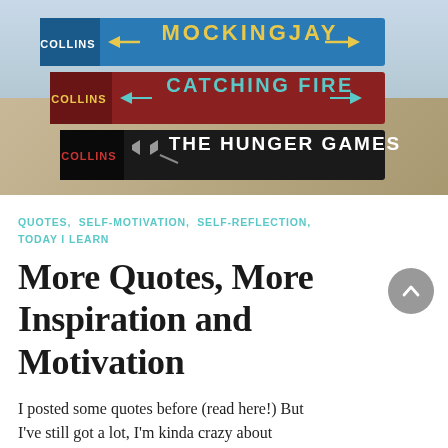[Figure (photo): Stack of three Hunger Games trilogy books by Collins (Mockingjay, Catching Fire, The Hunger Games) on an outdoor surface]
QUOTES,  SELF-MOTIVATION,  SELF-REFLECTION,  TODAY I LEARN
More Quotes, More Inspiration and Motivation
I posted some quotes before (read here!) But I've still got a lot, I'm kinda crazy about